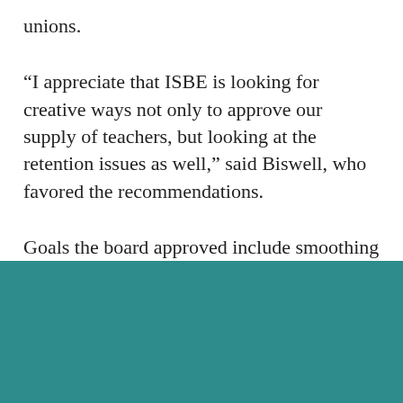unions.
“I appreciate that ISBE is looking for creative ways not only to approve our supply of teachers, but looking at the retention issues as well,” said Biswell, who favored the recommendations.
Goals the board approved include smoothing the pathway to teaching, providing more career advancement, and improving teacher licensing through…
However, teachers are doing fine monthly…
[Figure (other): Newsletter signup modal overlay for Chalkbeat Chicago with email input and Subscribe button]
By signing up, you agree to our Privacy Notice and European users agree to the data transfer policy.